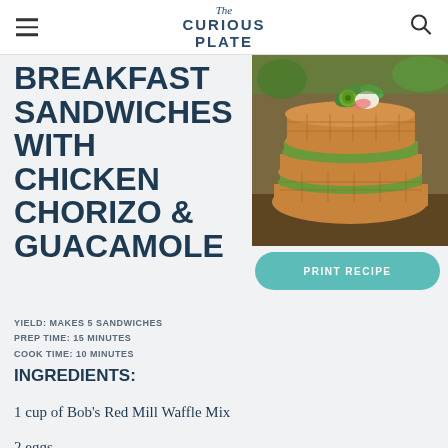The Curious Plate
BREAKFAST SANDWICHES WITH CHICKEN CHORIZO & GUACAMOLE
[Figure (photo): Photo of stacked waffle breakfast sandwiches with green guacamole filling, topped with pickled jalapeño and cream, on a wooden surface]
PRINT RECIPE
YIELD: MAKES 5 SANDWICHES
PREP TIME: 15 MINUTES
COOK TIME: 10 MINUTES
INGREDIENTS:
1 cup of Bob's Red Mill Waffle Mix
2 eggs
2 tablespoons vegetable oil